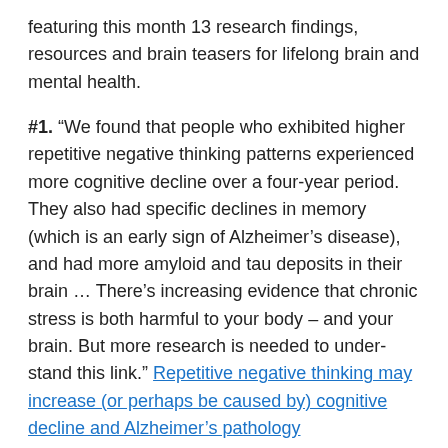featuring this month 13 research findings, resources and brain teasers for lifelong brain and mental health.
#1. “We found that people who exhibited higher repetitive negative thinking patterns experienced more cognitive decline over a four-year period. They also had specific declines in memory (which is an early sign of Alzheimer’s disease), and had more amyloid and tau deposits in their brain … There’s increasing evidence that chronic stress is both harmful to your body – and your brain. But more research is needed to understand this link.” Repetitive negative thinking may increase (or perhaps be caused by) cognitive decline and Alzheimer’s pathology
#2. “…even simple cognitive processes like making a shopping list now require more brainpower. “Now,